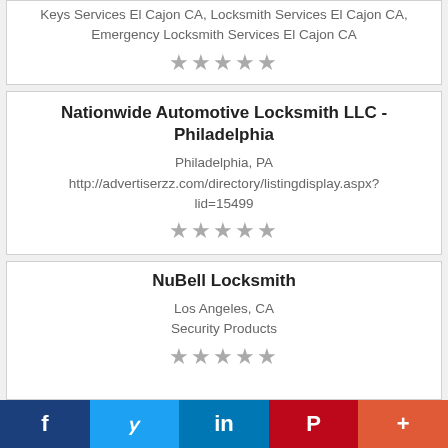Keys Services El Cajon CA, Locksmith Services El Cajon CA, Emergency Locksmith Services El Cajon CA
★★★★★
Nationwide Automotive Locksmith LLC - Philadelphia
Philadelphia, PA
http://advertiserzz.com/directory/listingdisplay.aspx?lid=15499
★★★★★
NuBell Locksmith
Los Angeles, CA
Security Products
★★★★★